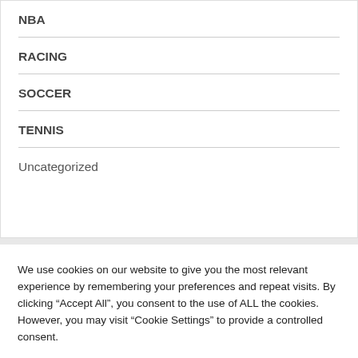NBA
RACING
SOCCER
TENNIS
Uncategorized
We use cookies on our website to give you the most relevant experience by remembering your preferences and repeat visits. By clicking “Accept All”, you consent to the use of ALL the cookies. However, you may visit “Cookie Settings” to provide a controlled consent.
Cookie Settings | Accept All